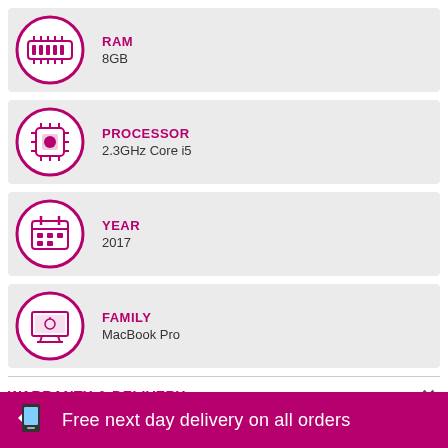[Figure (infographic): RAM icon in purple circle with spec label RAM and value 8GB]
[Figure (infographic): Processor/chip icon in purple circle with spec label PROCESSOR and value 2.3GHz Core i5]
[Figure (infographic): Calendar icon in purple circle with spec label YEAR and value 2017]
[Figure (infographic): Monitor icon in purple circle with spec label FAMILY and value MacBook Pro]
WARRANTY & DELIVERY
Warranty & Returnsı
Used devices ship with a 14 day no quibble returns policy and a 12
Free next day delivery on all orders